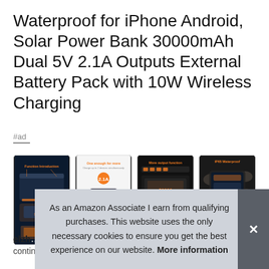Waterproof for iPhone Android, Solar Power Bank 30000mAh Dual 5V 2.1A Outputs External Battery Pack with 10W Wireless Charging
#ad
[Figure (photo): Four product thumbnail images of a solar power bank showing different angles and features: 1) product overview with labels, 2) wireless charging demonstration on a phone, 3) features/ports view, 4) product in rugged outdoor setting]
elzh
continuous working, has strong, Sony, cool, strobe tool
As an Amazon Associate I earn from qualifying purchases. This website uses the only necessary cookies to ensure you get the best experience on our website. More information